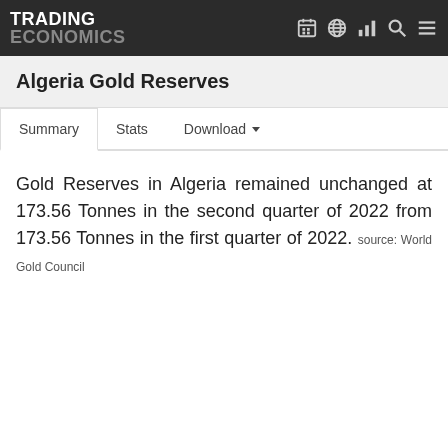TRADING ECONOMICS
Algeria Gold Reserves
Summary   Stats   Download
Gold Reserves in Algeria remained unchanged at 173.56 Tonnes in the second quarter of 2022 from 173.56 Tonnes in the first quarter of 2022. source: World Gold Council